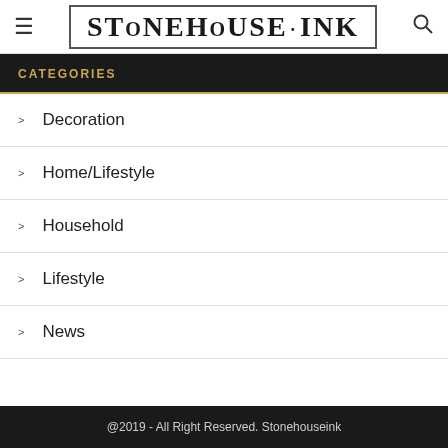StoneHouse Ink
CATEGORIES
Decoration
Home/Lifestyle
Household
Lifestyle
News
@2019 - All Right Reserved. Stonehouseink